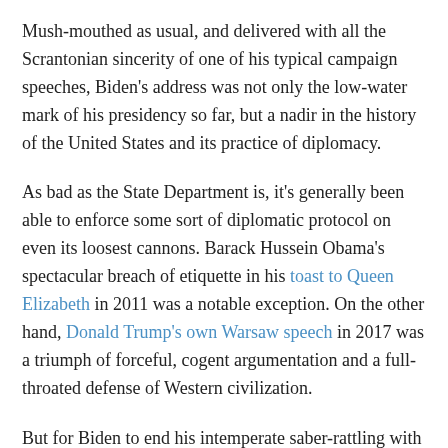Mush-mouthed as usual, and delivered with all the Scrantonian sincerity of one of his typical campaign speeches, Biden's address was not only the low-water mark of his presidency so far, but a nadir in the history of the United States and its practice of diplomacy.
As bad as the State Department is, it's generally been able to enforce some sort of diplomatic protocol on even its loosest cannons. Barack Hussein Obama's spectacular breach of etiquette in his toast to Queen Elizabeth in 2011 was a notable exception. On the other hand, Donald Trump's own Warsaw speech in 2017 was a triumph of forceful, cogent argumentation and a full-throated defense of Western civilization.
But for Biden to end his intemperate saber-rattling with a call for Vladimir Putin to be deposed is something nearly unprecedented in our nation's history. George H.W. Bush, during his feckless and pointless war against Saddam Hussein, effectively did so, at least